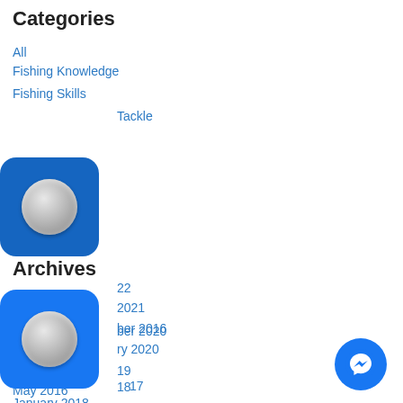Categories
All
Fishing Knowledge
Fishing Skills
Tackle
Archives
22
2021
ber 2020
ry 2020
19
18
January 2018
17
ber 2016
October 2016
June 2016
May 2016
February 2016
[Figure (other): Facebook social media icon (blue square with circle)]
[Figure (other): Facebook social media icon (blue square with circle)]
[Figure (other): YouTube social media icon (red square with circle)]
[Figure (other): Social media icon (blue square with circle)]
[Figure (other): Social media icon (pink square with circle)]
[Figure (other): Facebook Messenger FAB button (blue circle)]